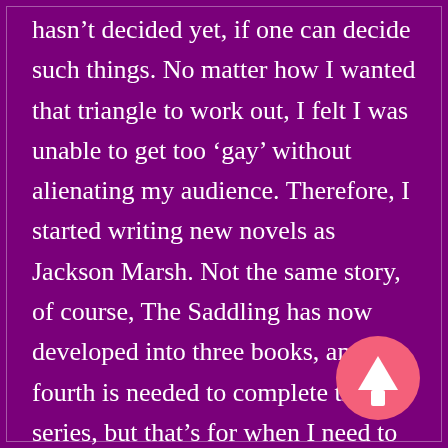hasn't decided yet, if one can decide such things. No matter how I wanted that triangle to work out, I felt I was unable to get too ‘gay’ without alienating my audience. Therefore, I started writing new novels as Jackson Marsh. Not the same story, of course, The Saddling has now developed into three books, and a fourth is needed to complete the series, but that’s for when I need to put Jackson on pause for a while.
[Figure (other): A pink/coral circular button with an upward-pointing arrow (back to top button)]